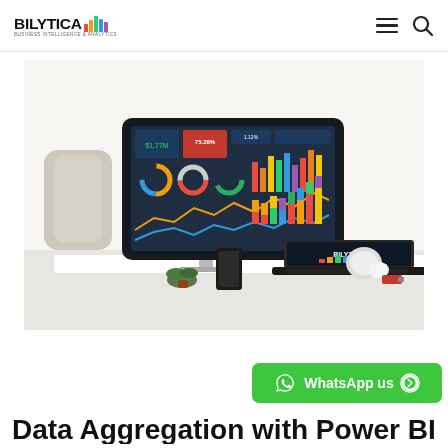BILYTICA (logo with bar chart icon) — hamburger menu and search icon
[Figure (photo): Photo of a desktop monitor and laptop on a white desk, both displaying Bilytica business intelligence dashboards featuring bar charts, donut charts, line charts, and colorful KPIs. A small plant and some desk accessories are visible. The monitor shows Power BI style analytics dashboards with the Bilytica logo on the laptop screen.]
[Figure (other): WhatsApp us button (green rounded rectangle with WhatsApp logo and text 'WhatsApp us')]
Data Aggregation with Power BI